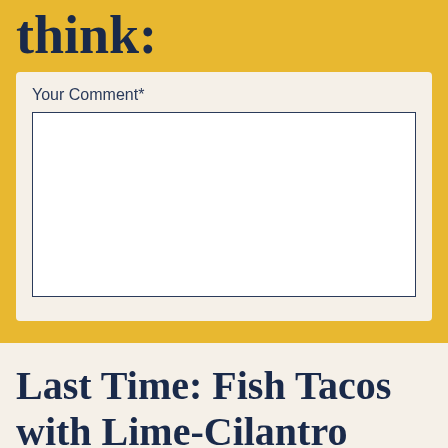think:
Your Comment*
Last Time: Fish Tacos with Lime-Cilantro Crema
Next Up: Knightriders